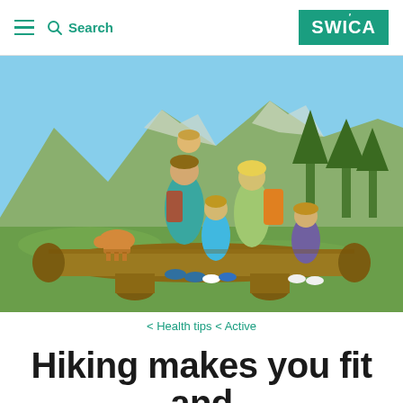≡  Search   SWICA
[Figure (photo): A happy family of five (two adults and three children) sitting on a wooden log in an alpine mountain meadow. The father carries a toddler on his back in a carrier. They are surrounded by green alpine scenery with mountains, trees, and grazing cows in the background. All wearing outdoor/hiking gear.]
< Health tips < Active
Hiking makes you fit and